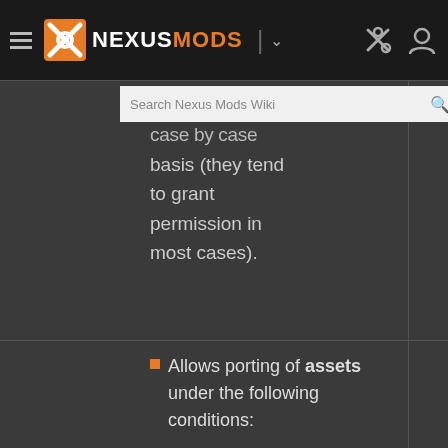NEXUSMODS
2077 is done on a case by case basis (they tend to grant permission in most cases).
Allows porting of assets under the following conditions:
The mod author has purchased the assets and interactive license for the assets.
The outfits are...